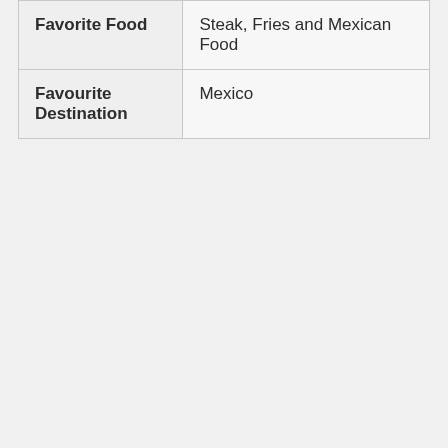| Favorite Food | Steak, Fries and Mexican Food |
| Favourite Destination | Mexico |